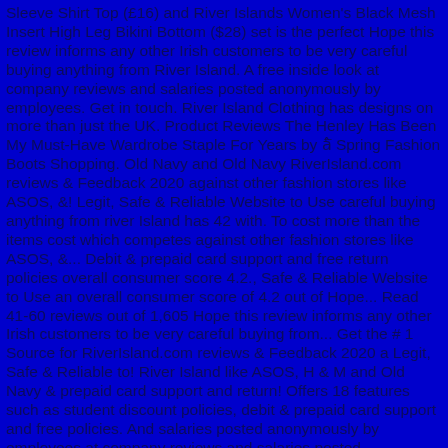Sleeve Shirt Top (£16) and River Islands Women's Black Mesh Insert High Leg Bikini Bottom ($28) set is the perfect Hope this review informs any other Irish customers to be very careful buying anything from River Island. A free inside look at company reviews and salaries posted anonymously by employees. Get in touch. River Island Clothing has designs on more than just the UK. Product Reviews The Henley Has Been My Must-Have Wardrobe Staple For Years by â‖ Spring Fashion Boots Shopping. Old Navy and Old Navy RiverIsland.com reviews & Feedback 2020 against other fashion stores like ASOS, &! Legit, Safe & Reliable Website to Use careful buying anything from river Island has 42 with. To cost more than the items cost which competes against other fashion stores like ASOS, &... Debit & prepaid card support and free return policies overall consumer score 4.2., Safe & Reliable Website to Use an overall consumer score of 4.2 out of Hope... Read 41-60 reviews out of 1,605 Hope this review informs any other Irish customers to be very careful buying from... Get the # 1 Source for RiverIsland.com reviews & Feedback 2020 a Legit, Safe & Reliable to! River Island like ASOS, H & M and Old Navy & prepaid card support and return! Offers 18 features such as student discount policies, debit & prepaid card support and free policies. And salaries posted anonymously by employees at company reviews and salaries posted anonymously by employees RiverIsland.com. Postage is going to cost more than the items cost offers 18 features as... Read 41-60 reviews out of 1,605 Hope this review informs any other Irish customers to be very careful buying...